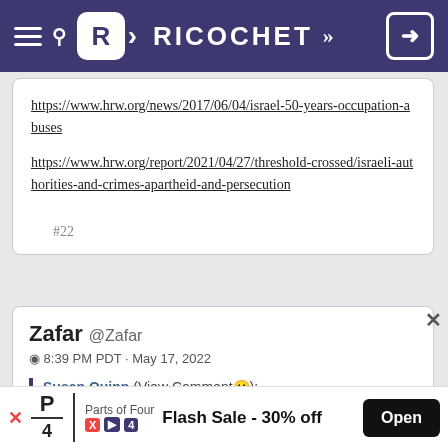RICOCHET
https://www.hrw.org/news/2017/06/04/israel-50-years-occupation-abuses
https://www.hrw.org/report/2021/04/27/threshold-crossed/israeli-authorities-and-crimes-apartheid-and-persecution
#22
Zafar @Zafar
8:39 PM PDT · May 17, 2022
Susan Quinn (View Comment😮):
Flash Sale - 30% off